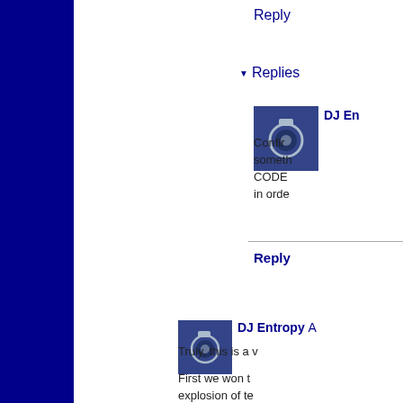Reply
Replies
DJ En...
Confir... something... CODE... in orde...
Reply
DJ Entropy A...
Truly, this is a...
First we won t... explosion of te...
Winning this h... please contact...